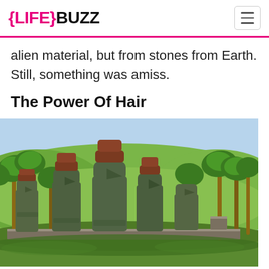{LIFE}BUZZ
alien material, but from stones from Earth. Still, something was amiss.
The Power Of Hair
[Figure (photo): Easter Island moai statues with reddish-brown pukao (topknots) on their heads, standing in a row against a backdrop of green palm trees and rolling hills under a blue sky.]